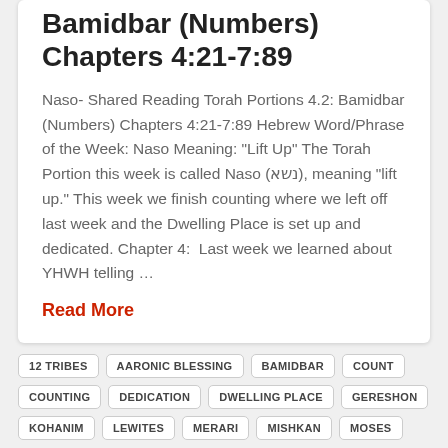Bamidbar (Numbers) Chapters 4:21-7:89
Naso- Shared Reading Torah Portions 4.2: Bamidbar (Numbers) Chapters 4:21-7:89 Hebrew Word/Phrase of the Week: Naso Meaning: “Lift Up” The Torah Portion this week is called Naso (נשא), meaning “lift up.” This week we finish counting where we left off last week and the Dwelling Place is set up and dedicated. Chapter 4:  Last week we learned about YHWH telling …
Read More
12 TRIBES
AARONIC BLESSING
BAMIDBAR
COUNT
COUNTING
DEDICATION
DWELLING PLACE
GERESHON
KOHANIM
LEWITES
MERARI
MISHKAN
MOSES